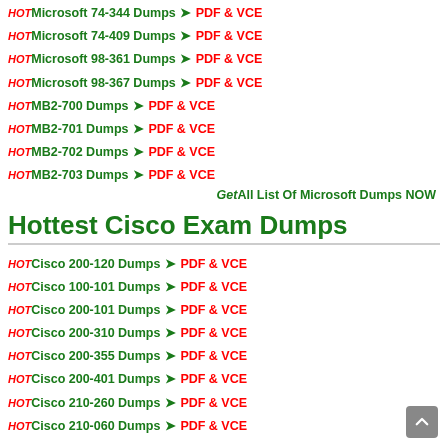HOT Microsoft 74-344 Dumps ➤ PDF & VCE
HOT Microsoft 74-409 Dumps ➤ PDF & VCE
HOT Microsoft 98-361 Dumps ➤ PDF & VCE
HOT Microsoft 98-367 Dumps ➤ PDF & VCE
HOT MB2-700 Dumps ➤ PDF & VCE
HOT MB2-701 Dumps ➤ PDF & VCE
HOT MB2-702 Dumps ➤ PDF & VCE
HOT MB2-703 Dumps ➤ PDF & VCE
Get All List Of Microsoft Dumps NOW
Hottest Cisco Exam Dumps
HOT Cisco 200-120 Dumps ➤ PDF & VCE
HOT Cisco 100-101 Dumps ➤ PDF & VCE
HOT Cisco 200-101 Dumps ➤ PDF & VCE
HOT Cisco 200-310 Dumps ➤ PDF & VCE
HOT Cisco 200-355 Dumps ➤ PDF & VCE
HOT Cisco 200-401 Dumps ➤ PDF & VCE
HOT Cisco 210-260 Dumps ➤ PDF & VCE
HOT Cisco 210-060 Dumps ➤ PDF & VCE